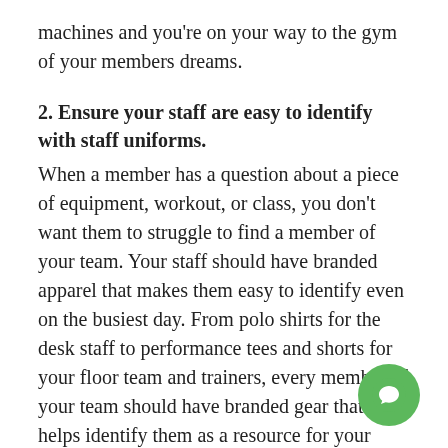machines and you're on your way to the gym of your members dreams.
2. Ensure your staff are easy to identify with staff uniforms.
When a member has a question about a piece of equipment, workout, or class, you don't want them to struggle to find a member of your team. Your staff should have branded apparel that makes them easy to identify even on the busiest day. From polo shirts for the desk staff to performance tees and shorts for your floor team and trainers, every member of your team should have branded gear that helps identify them as a resource for your mem
[Figure (other): Green circular chat/message button in the bottom-right corner]